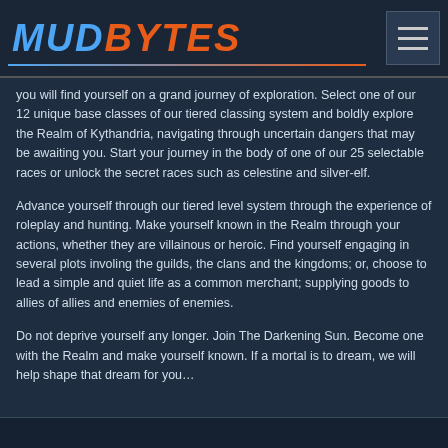MUDBYTES
you will find yourself on a grand journey of exploration. Select one of our 12 unique base classes of our tiered classing system and boldly explore the Realm of Kythandria, navigating through uncertain dangers that may be awaiting you. Start your journey in the body of one of our 25 selectable races or unlock the secret races such as celestine and silver-elf.
Advance yourself through our tiered level system through the experience of roleplay and hunting. Make yourself known in the Realm through your actions, whether they are villainous or heroic. Find yourself engaging in several plots involing the guilds, the clans and the kingdoms; or, choose to lead a simple and quiet life as a common merchant; supplying goods to allies of allies and enemies of enemies.
Do not deprive yourself any longer. Join The Darkening Sun. Become one with the Realm and make yourself known. If a mortal is to dream, we will help shape that dream for you…